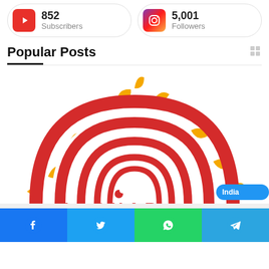[Figure (infographic): YouTube stat card showing 852 Subscribers with red YouTube icon]
[Figure (infographic): Instagram stat card showing 5,001 Followers with Instagram gradient icon]
Popular Posts
[Figure (illustration): Aadhaar card logo — red fingerprint arcs with golden sun rays radiating outward, text partially visible at bottom]
[Figure (infographic): Social share bar with Facebook, Twitter, WhatsApp, and Telegram buttons]